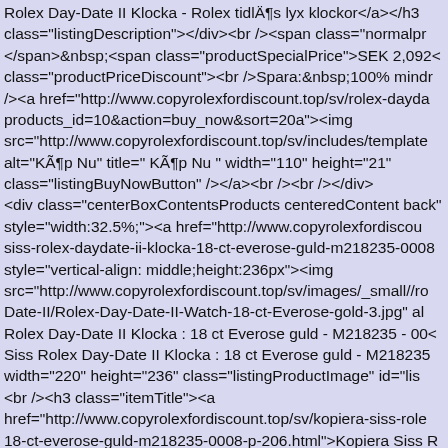Rolex Day-Date II Klocka - Rolex tidlÄ¶s lyx klockor</a></h3 class="listingDescription"></div><br /><span class="normalpr </span>&nbsp;<span class="productSpecialPrice">SEK 2,092< class="productPriceDiscount"><br />Spara:&nbsp;100% mindr /><a href="http://www.copyrolexfordiscount.top/sv/rolex-dayda products_id=10&action=buy_now&sort=20a"><img src="http://www.copyrolexfordiscount.top/sv/includes/template alt="KÃ¶p Nu" title=" KÃ¶p Nu " width="110" height="21" class="listingBuyNowButton" /></a><br /><br /></div> <div class="centerBoxContentsProducts centeredContent back" style="width:32.5%;"><a href="http://www.copyrolexfordiscou siss-rolex-daydate-ii-klocka-18-ct-everose-guld-m218235-0008 style="vertical-align: middle;height:236px"><img src="http://www.copyrolexfordiscount.top/sv/images/_small//ro Date-II/Rolex-Day-Date-II-Watch-18-ct-Everose-gold-3.jpg" al Rolex Day-Date II Klocka : 18 ct Everose guld - M218235 - 00( Siss Rolex Day-Date II Klocka : 18 ct Everose guld - M218235 width="220" height="236" class="listingProductImage" id="lis <br /><h3 class="itemTitle"><a href="http://www.copyrolexfordiscount.top/sv/kopiera-siss-role 18-ct-everose-guld-m218235-0008-p-206.html">Kopiera Siss R Klocka : 18 ct Everose guld - M218235 - 0008</a></h3><div class="listingDescription"></div><br /><span class="normalpr </span>&nbsp;<span class="productSpecialPrice">SEK 2,505< class="productPriceDiscount"><br />Spara:&nbsp;99% mindre